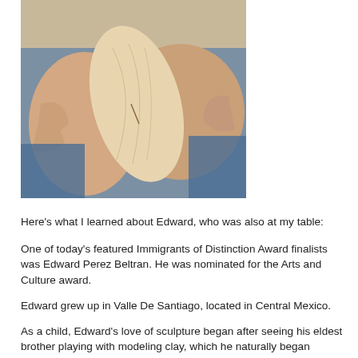[Figure (photo): Close-up photo of hands holding and working with a piece of light-colored wood or clay sculpture material. Person wearing a denim shirt.]
Here's what I learned about Edward, who was also at my table:
One of today's featured Immigrants of Distinction Award finalists was Edward Perez Beltran. He was nominated for the Arts and Culture award.
Edward grew up in Valle De Santiago, located in Central Mexico.
As a child, Edward's love of sculpture began after seeing his eldest brother playing with modeling clay, which he naturally began playing with as well. With community support, Edward gravitated towards sculpture as not just a hobby, but as a potential career. Upon finishing high school Edward travelled to Salamanca Guanajuato to study the